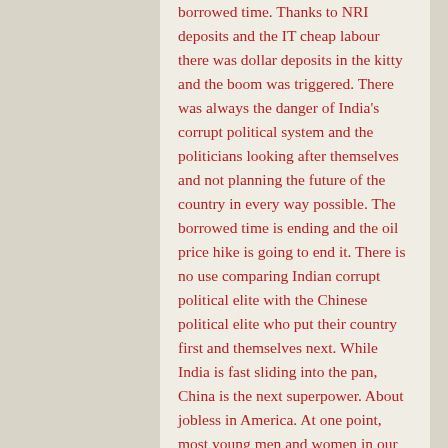borrowed time. Thanks to NRI deposits and the IT cheap labour there was dollar deposits in the kitty and the boom was triggered. There was always the danger of India's corrupt political system and the politicians looking after themselves and not planning the future of the country in every way possible. The borrowed time is ending and the oil price hike is going to end it. There is no use comparing Indian corrupt political elite with the Chinese political elite who put their country first and themselves next. While India is fast sliding into the pan, China is the next superpower. About jobless in America. At one point, most young men and women in our street in Mysore were heading towards the Land of Opportunity- not all of them